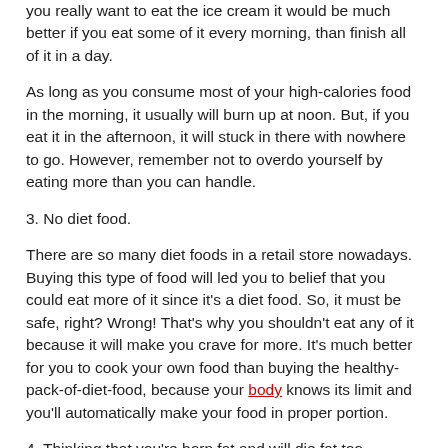you really want to eat the ice cream it would be much better if you eat some of it every morning, than finish all of it in a day.
As long as you consume most of your high-calories food in the morning, it usually will burn up at noon. But, if you eat it in the afternoon, it will stuck in there with nowhere to go. However, remember not to overdo yourself by eating more than you can handle.
3. No diet food.
There are so many diet foods in a retail store nowadays. Buying this type of food will led you to belief that you could eat more of it since it's a diet food. So, it must be safe, right? Wrong! That's why you shouldn't eat any of it because it will make you crave for more. It's much better for you to cook your own food than buying the healthy-pack-of-diet-food, because your body knows its limit and you'll automatically make your food in proper portion.
4. Thinking that you're born fat and will die fat too.
Now, this is the wrong mindset you'll ever have. While it's good to analyze why you and your family are fat, it's better if you analyze it, and compare it to other people who has a slimmer body. By doing that you'll figure out